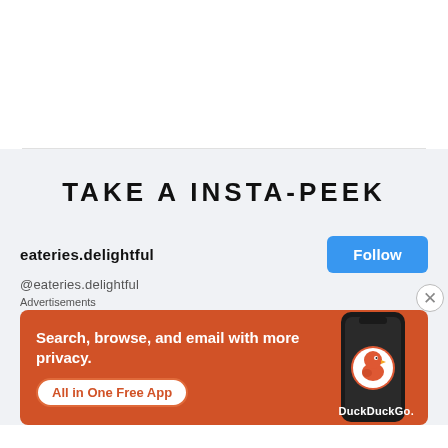TAKE A INSTA-PEEK
eateries.delightful
@eateries.delightful
Advertisements
[Figure (screenshot): DuckDuckGo advertisement banner showing 'Search, browse, and email with more privacy. All in One Free App' with a phone image and DuckDuckGo logo on an orange background]